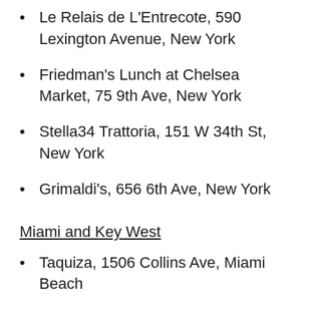Le Relais de L'Entrecote, 590 Lexington Avenue, New York
Friedman's Lunch at Chelsea Market, 75 9th Ave, New York
Stella34 Trattoria, 151 W 34th St, New York
Grimaldi's, 656 6th Ave, New York
Miami and Key West
Taquiza, 1506 Collins Ave, Miami Beach
Banana Sunset Restaurant, 500 Collins Ave